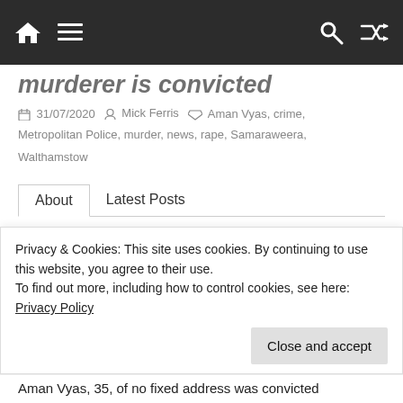Navigation bar with home, menu, search, and shuffle icons
murderer is convicted
31/07/2020  Mick Ferris  Aman Vyas, crime, Metropolitan Police, murder, news, rape, Samaraweera, Walthamstow
About  Latest Posts
By Mick Ferris
Editor
Email: mickferris@yellowad.co.uk
Privacy & Cookies: This site uses cookies. By continuing to use this website, you agree to their use.
To find out more, including how to control cookies, see here: Privacy Policy
Aman Vyas, 35, of no fixed address was convicted